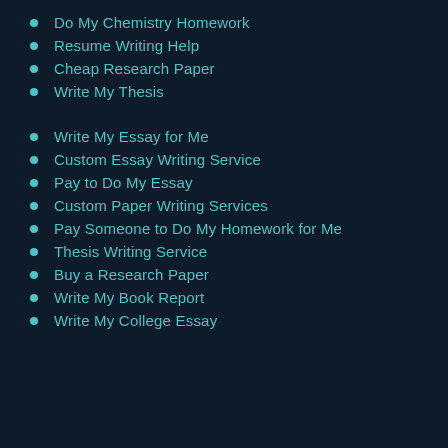Do My Chemistry Homework
Resume Writing Help
Cheap Research Paper
Write My Thesis
Write My Essay for Me
Custom Essay Writing Service
Pay to Do My Essay
Custom Paper Writing Services
Pay Someone to Do My Homework for Me
Thesis Writing Service
Buy a Research Paper
Write My Book Report
Write My College Essay